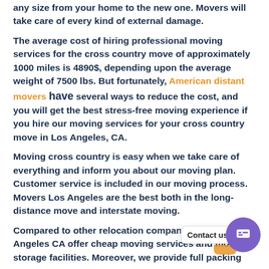any size from your home to the new one. Movers will take care of every kind of external damage.
The average cost of hiring professional moving services for the cross country move of approximately 1000 miles is 4890$, depending upon the average weight of 7500 lbs. But fortunately, American distant movers have several ways to reduce the cost, and you will get the best stress-free moving experience if you hire our moving services for your cross country move in Los Angeles, CA.
Moving cross country is easy when we take care of everything and inform you about our moving plan. Customer service is included in our moving process. Movers Los Angeles are the best both in the long-distance move and interstate moving.
Compared to other relocation companies, Movers Los Angeles CA offer cheap moving services and moving storage facilities. Moreover, we provide full packing